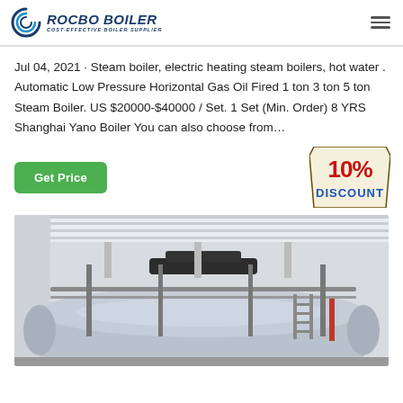ROCBO BOILER — COST-EFFECTIVE BOILER SUPPLIER
Jul 04, 2021 · Steam boiler, electric heating steam boilers, hot water . Automatic Low Pressure Horizontal Gas Oil Fired 1 ton 3 ton 5 ton Steam Boiler. US $20000-$40000 / Set. 1 Set (Min. Order) 8 YRS Shanghai Yano Boiler You can also choose from…
[Figure (infographic): 10% DISCOUNT badge — red text on cream/white tag shape with dark border]
[Figure (photo): Industrial steam boiler installation inside a building — large horizontal cylindrical silver/stainless boiler with pipes, ladder, and ceiling supports visible]